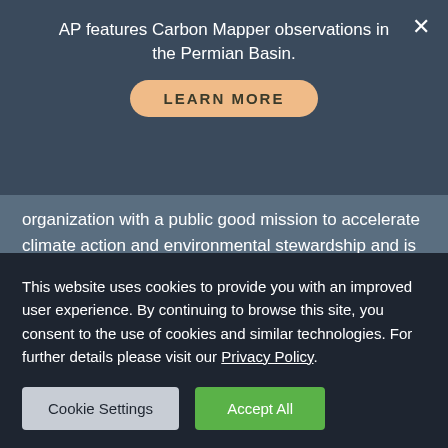AP features Carbon Mapper observations in the Permian Basin.
LEARN MORE
organization with a public good mission to accelerate climate action and environmental stewardship and is made possible by generous donations by our philanthropic sponsors.
ADDRESS
Carbon Mapper, Inc.
This website uses cookies to provide you with an improved user experience. By continuing to browse this site, you consent to the use of cookies and similar technologies. For further details please visit our Privacy Policy.
Cookie Settings
Accept All